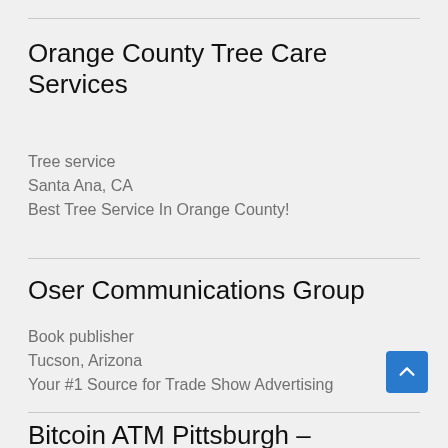Orange County Tree Care Services
Tree service
Santa Ana, CA
Best Tree Service In Orange County!
Oser Communications Group
Book publisher
Tucson, Arizona
Your #1 Source for Trade Show Advertising
Bitcoin ATM Pittsburgh –